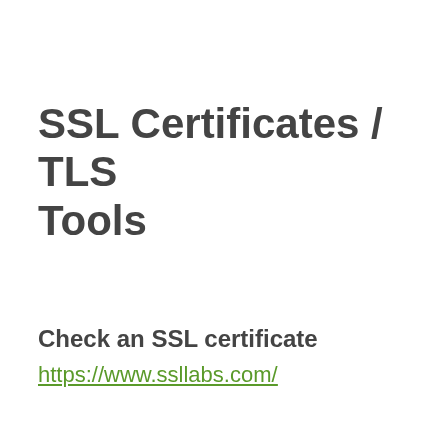SSL Certificates / TLS Tools
Check an SSL certificate
https://www.ssllabs.com/
Check why an SSL web page is showing as insecure